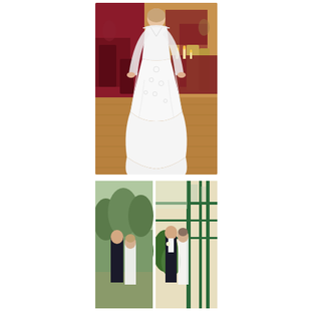[Figure (photo): A bride in a white lace long-sleeve wedding gown standing alone on a wooden dance floor at a wedding reception. The background shows red/crimson tablecloths, gold chiavari chairs, and guests seated at tables with candles and floral centerpieces.]
[Figure (photo): Two smaller wedding photos side by side at the bottom. Left photo: a couple in formal wedding attire standing outdoors in a garden setting with trees in the background. Right photo: an older couple — a man in a black tuxedo and a woman in a white dress — facing each other and smiling near a green ornate structure/greenhouse.]